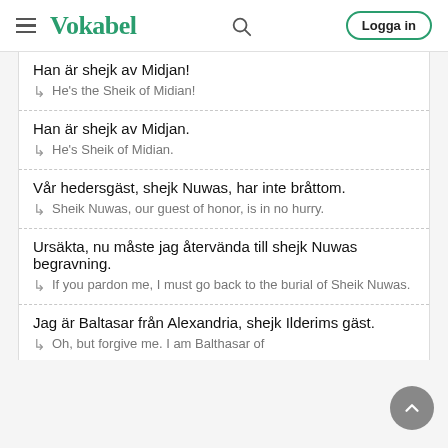Vokabel
Han är shejk av Midjan!
↳ He's the Sheik of Midian!
Han är shejk av Midjan.
↳ He's Sheik of Midian.
Vår hedersgäst, shejk Nuwas, har inte bråttom.
↳ Sheik Nuwas, our guest of honor, is in no hurry.
Ursäkta, nu måste jag återvända till shejk Nuwas begravning.
↳ If you pardon me, I must go back to the burial of Sheik Nuwas.
Jag är Baltasar från Alexandria, shejk Ilderims gäst.
↳ Oh, but forgive me. I am Balthasar of